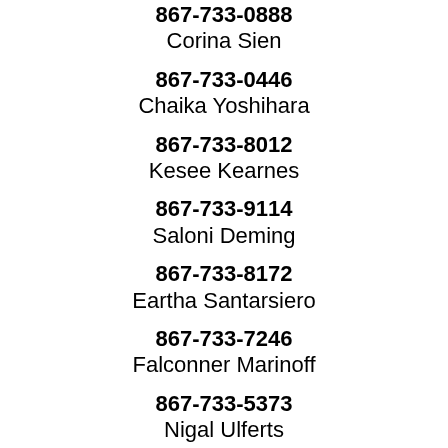867-733-0888
Corina Sien
867-733-0446
Chaika Yoshihara
867-733-8012
Kesee Kearnes
867-733-9114
Saloni Deming
867-733-8172
Eartha Santarsiero
867-733-7246
Falconner Marinoff
867-733-5373
Nigal Ulferts
867-733-2962
Aristotelis Petraglia
867-733-1142
Holissah Alsbrook